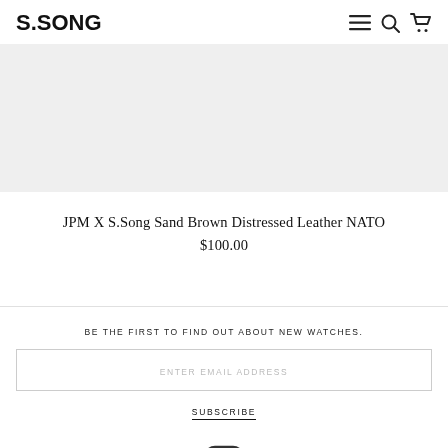S.SONG
[Figure (photo): Light gray product image placeholder area for JPM X S.Song Sand Brown Distressed Leather NATO watch strap.]
JPM X S.Song Sand Brown Distressed Leather NATO
$100.00
BE THE FIRST TO FIND OUT ABOUT NEW WATCHES.
ENTER EMAIL ADDRESS
SUBSCRIBE
[Figure (logo): Instagram icon (camera outline with rounded square border)]